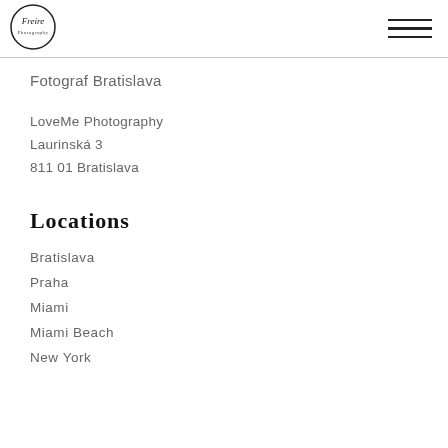[Figure (logo): Freire photography circular logo with script text]
Fotograf Bratislava
LoveMe Photography
Laurinská 3
811 01 Bratislava
Locations
Bratislava
Praha
Miami
Miami Beach
New York